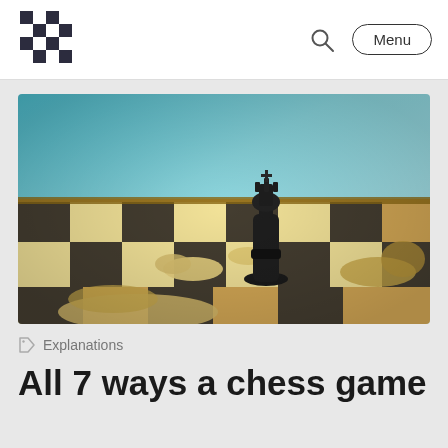[Figure (logo): Chess.com checkerboard logo in black and white squares]
[Figure (photo): A black chess king piece standing upright on a wooden chessboard surrounded by fallen white chess pieces, with a blurred blue background]
Explanations
All 7 ways a chess game